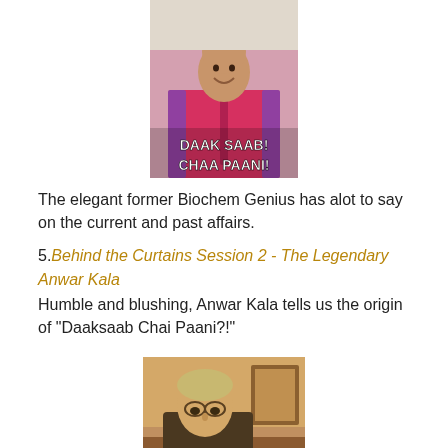[Figure (photo): A man in a pink/red jacket smiling, with text overlay reading DAAK SAAB! CHAA PAANI!]
The elegant former Biochem Genius has alot to say on the current and past affairs.
5. Behind the Curtains Session 2 - The Legendary Anwar Kala
Humble and blushing, Anwar Kala tells us the origin of "Daaksaab Chai Paani?!"
[Figure (photo): A man with glasses looking downward, in a warm-toned indoor setting]